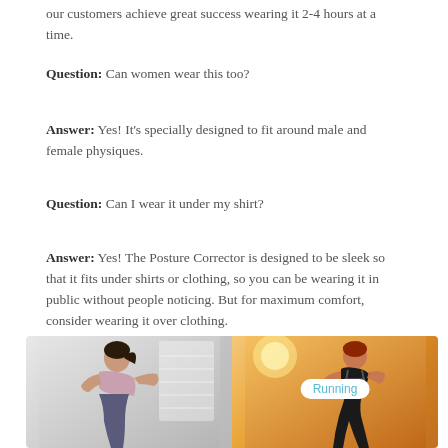our customers achieve great success wearing it 2-4 hours at a time.
Question: Can women wear this too?
Answer: Yes! It's specially designed to fit around male and female physiques.
Question: Can I wear it under my shirt?
Answer: Yes! The Posture Corrector is designed to be sleek so that it fits under shirts or clothing, so you can be wearing it in public without people noticing. But for maximum comfort, consider wearing it over clothing.
[Figure (photo): Two-panel image showing posture corrector use cases. Left panel: woman with dark hair in ponytail stretching/reaching behind her back in a light indoor setting. Right panel: person wearing posture corrector while running outdoors in warm sunlit setting, with 'Running' label badge overlaid.]